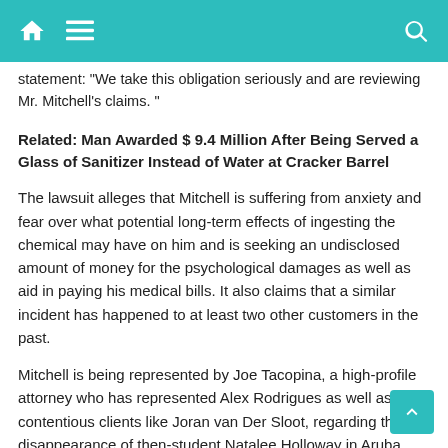[Navigation bar with home, menu, and search icons]
statement: "We take this obligation seriously and are reviewing Mr. Mitchell's claims. "
Related: Man Awarded $ 9.4 Million After Being Served a Glass of Sanitizer Instead of Water at Cracker Barrel
The lawsuit alleges that Mitchell is suffering from anxiety and fear over what potential long-term effects of ingesting the chemical may have on him and is seeking an undisclosed amount of money for the psychological damages as well as aid in paying his medical bills. It also claims that a similar incident has happened to at least two other customers in the past.
Mitchell is being represented by Joe Tacopina, a high-profile attorney who has represented Alex Rodrigues as well as contentious clients like Joran van Der Sloot, regarding the disappearance of then-student Natalee Holloway in Aruba.